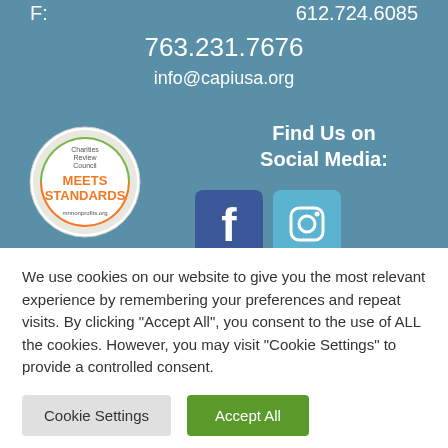F: 612.724.6085
763.231.7676
info@capiusa.org
Find Us on Social Media:
[Figure (logo): Charities Review Council Meets Standards badge with green and orange logo]
[Figure (logo): Facebook and Instagram social media icons]
We use cookies on our website to give you the most relevant experience by remembering your preferences and repeat visits. By clicking "Accept All", you consent to the use of ALL the cookies. However, you may visit "Cookie Settings" to provide a controlled consent.
Cookie Settings | Accept All